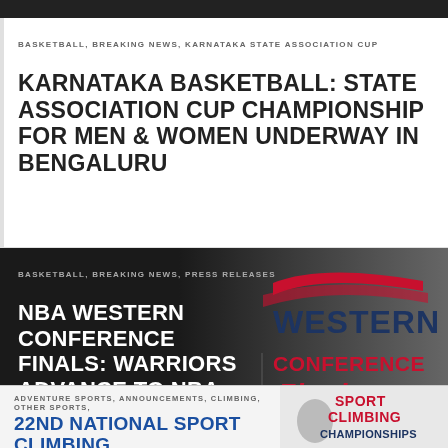BASKETBALL, BREAKING NEWS, KARNATAKA STATE ASSOCIATION CUP
KARNATAKA BASKETBALL: STATE ASSOCIATION CUP CHAMPIONSHIP FOR MEN & WOMEN UNDERWAY IN BENGALURU
BASKETBALL, BREAKING NEWS, PRESS RELEASES
NBA WESTERN CONFERENCE FINALS: WARRIORS ADVANCE TO NBA FINALS
[Figure (logo): NBA Western Conference Finals logo with red swoosh graphics]
ADVENTURE SPORTS, ANNOUNCEMENTS, CLIMBING, OTHER SPORTS,
22ND NATIONAL SPORT CLIMBING
[Figure (logo): Sport Climbing Championships logo partial view]